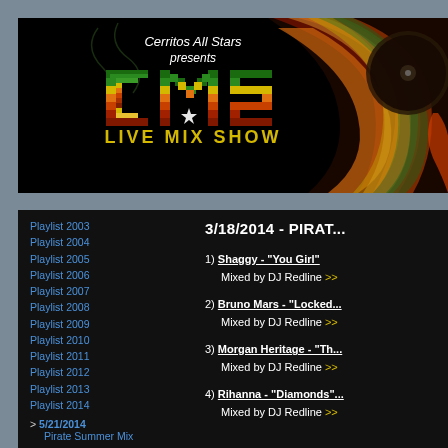[Figure (illustration): Cerritos All Stars presents LMS Live Mix Show banner with colorful LMS logo letters in red/yellow/green gradient and decorative vinyl/music imagery on right side]
Playlist 2003
Playlist 2004
Playlist 2005
Playlist 2006
Playlist 2007
Playlist 2008
Playlist 2009
Playlist 2010
Playlist 2011
Playlist 2012
Playlist 2013
Playlist 2014
> 5/21/2014
Pirate Summer Mix
> 5/14/2014
WednesdayWetdown_516
> 5/10/2014
3/18/2014 - PIRAT...
1) Shaggy - "You Girl"
Mixed by DJ Redline >>
2) Bruno Mars - "Locked..."
Mixed by DJ Redline >>
3) Morgan Heritage - "Th..."
Mixed by DJ Redline >>
4) Rihanna - "Diamonds"...
Mixed by DJ Redline >>